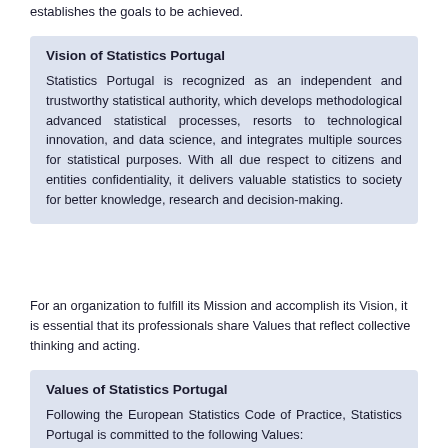establishes the goals to be achieved.
Vision of Statistics Portugal
Statistics Portugal is recognized as an independent and trustworthy statistical authority, which develops methodological advanced statistical processes, resorts to technological innovation, and data science, and integrates multiple sources for statistical purposes. With all due respect to citizens and entities confidentiality, it delivers valuable statistics to society for better knowledge, research and decision-making.
For an organization to fulfill its Mission and accomplish its Vision, it is essential that its professionals share Values that reflect collective thinking and acting.
Values of Statistics Portugal
Following the European Statistics Code of Practice, Statistics Portugal is committed to the following Values:
- Professionalism, ethics and respect for confidentiality;